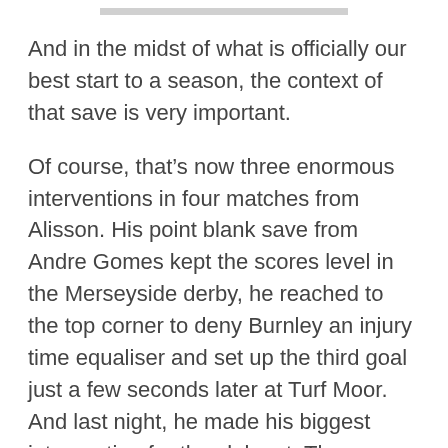And in the midst of what is officially our best start to a season, the context of that save is very important.
Of course, that’s now three enormous interventions in four matches from Alisson. His point blank save from Andre Gomes kept the scores level in the Merseyside derby, he reached to the top corner to deny Burnley an injury time equaliser and set up the third goal just a few seconds later at Turf Moor. And last night, he made his biggest intervention for the club yet. These are all key moments in the story of our season – a season where we are going to have hardly any room for error if we want to win any trophies.
The addition of a confident, commanding